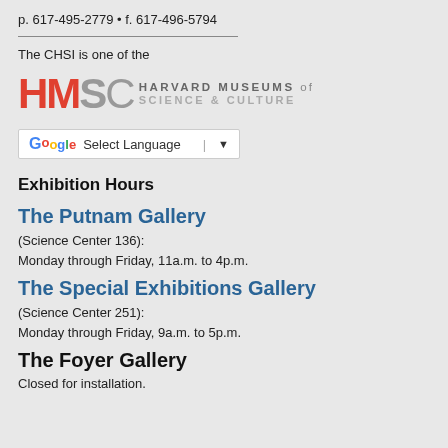p. 617-495-2779 • f. 617-496-5794
The CHSI is one of the
[Figure (logo): Harvard Museums of Science & Culture (HMSC) logo with large red HM and gray SC letters followed by text HARVARD MUSEUMS of SCIENCE & CULTURE]
[Figure (screenshot): Google Translate widget: G icon, Select Language dropdown with arrow]
Exhibition Hours
The Putnam Gallery
(Science Center 136):
Monday through Friday, 11a.m. to 4p.m.
The Special Exhibitions Gallery
(Science Center 251):
Monday through Friday, 9a.m. to 5p.m.
The Foyer Gallery
Closed for installation.